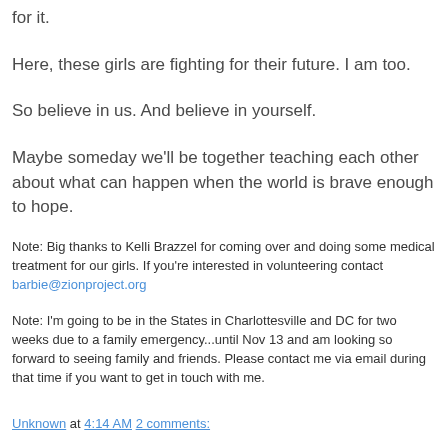for it.
Here, these girls are fighting for their future. I am too.
So believe in us. And believe in yourself.
Maybe someday we'll be together teaching each other about what can happen when the world is brave enough to hope.
Note: Big thanks to Kelli Brazzel for coming over and doing some medical treatment for our girls. If you're interested in volunteering contact barbie@zionproject.org
Note: I'm going to be in the States in Charlottesville and DC for two weeks due to a family emergency...until Nov 13 and am looking so forward to seeing family and friends. Please contact me via email during that time if you want to get in touch with me.
Unknown at 4:14 AM   2 comments: